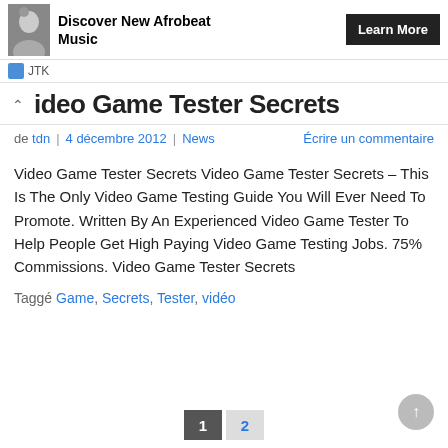[Figure (other): Advertisement banner with avatar photo, text 'Discover New Afrobeat Music' and a 'Learn More' button]
JTK
Video Game Tester Secrets
de tdn | 4 décembre 2012 | News  Écrire un commentaire
Video Game Tester Secrets Video Game Tester Secrets – This Is The Only Video Game Testing Guide You Will Ever Need To Promote. Written By An Experienced Video Game Tester To Help People Get High Paying Video Game Testing Jobs. 75% Commissions. Video Game Tester Secrets
Taggé Game, Secrets, Tester, vidéo